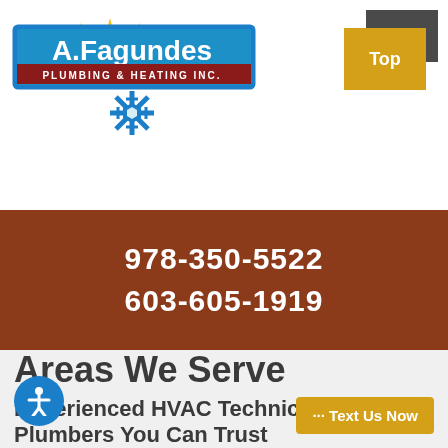[Figure (logo): A.Fagundes Plumbing & Heating Inc. logo with snowflake icon and sunburst]
Top
978-350-5522
603-605-1919
Areas We Serve
Experienced HVAC Technicians & Plumbers You Can Trust
[Figure (illustration): Accessibility icon (person with arms out) in blue circle]
··· Text Us Now